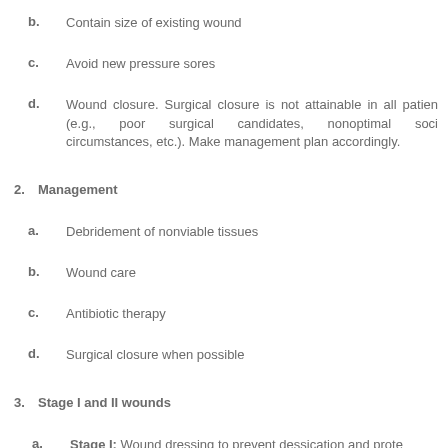b.  Contain size of existing wound
c.  Avoid new pressure sores
d.  Wound closure. Surgical closure is not attainable in all patients (e.g., poor surgical candidates, nonoptimal social circumstances, etc.). Make management plan accordingly.
2.  Management
a.  Debridement of nonviable tissues
b.  Wound care
c.  Antibiotic therapy
d.  Surgical closure when possible
3.  Stage I and II wounds
a.  Stage I: Wound dressing to prevent dessication and prote